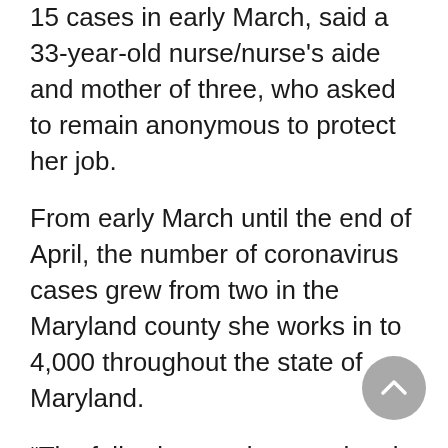15 cases in early March, said a 33-year-old nurse/nurse's aide and mother of three, who asked to remain anonymous to protect her job.
From early March until the end of April, the number of coronavirus cases grew from two in the Maryland county she works in to 4,000 throughout the state of Maryland.
“The following weeks were hectic and scary because there was no clarification on anything,” she says. “Although it was said on the news that we had so many test kits and resources, it didn’t make a difference in reality because the access wasn’t there and